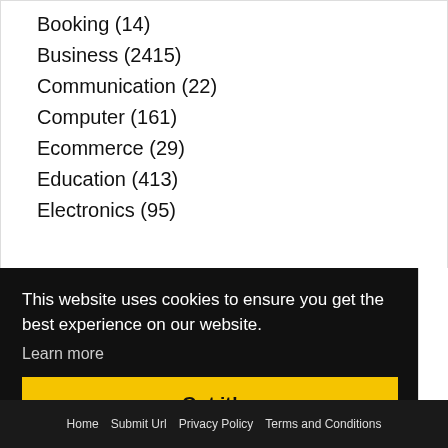Booking (14)
Business (2415)
Communication (22)
Computer (161)
Ecommerce (29)
Education (413)
Electronics (95)
This website uses cookies to ensure you get the best experience on our website.
Learn more
Got it!
Home  Submit Url  Privacy Policy  Terms and Conditions